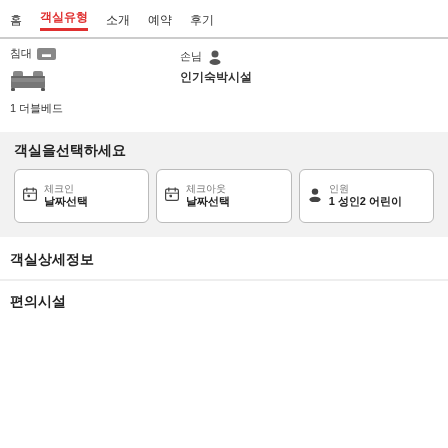홈  객실유형  소개  예약  후기
침대 1  손님 1
[Figure (illustration): Bed icon]
인기숙박시설
1 더블베드
객실을선택하세요
체크인  날짜선택
체크아웃  날짜선택
인원  1 성인2 어린이
객실상세정보
편의시설